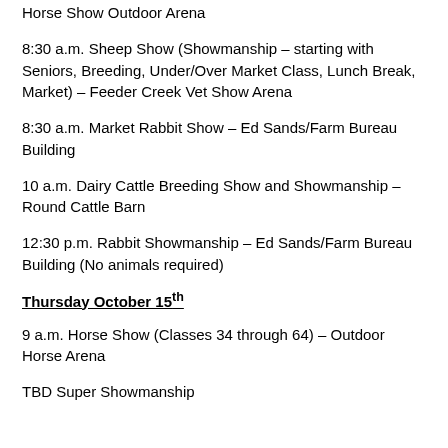Horse Show Outdoor Arena
8:30 a.m. Sheep Show (Showmanship – starting with Seniors, Breeding, Under/Over Market Class, Lunch Break, Market) – Feeder Creek Vet Show Arena
8:30 a.m. Market Rabbit Show – Ed Sands/Farm Bureau Building
10 a.m. Dairy Cattle Breeding Show and Showmanship – Round Cattle Barn
12:30 p.m. Rabbit Showmanship – Ed Sands/Farm Bureau Building (No animals required)
Thursday October 15th
9 a.m. Horse Show (Classes 34 through 64) – Outdoor Horse Arena
TBD Super Showmanship